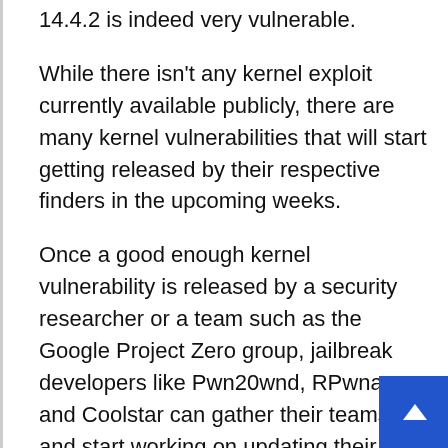14.4.2 is indeed very vulnerable.
While there isn't any kernel exploit currently available publicly, there are many kernel vulnerabilities that will start getting released by their respective finders in the upcoming weeks.
Once a good enough kernel vulnerability is released by a security researcher or a team such as the Google Project Zero group, jailbreak developers like Pwn20wnd, RPwnage, and Coolstar can gather their teams and start working on updating their tools.
Unc0ver Jailbreak, Taurine, Manticore Jailbreak, all of them can be jailbroken once a kernel exploit is released.